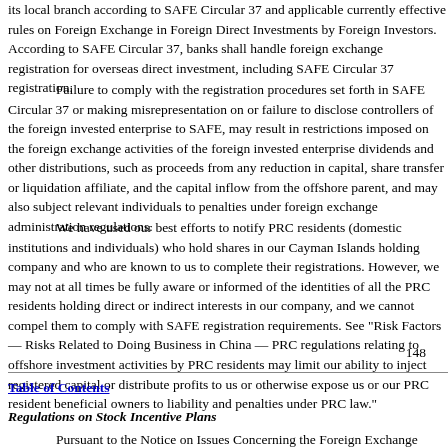its local branch according to SAFE Circular 37 and applicable currently effective rules on Foreign Exchange in Foreign Direct Investments by Foreign Investors. According to SAFE Circular 37, banks shall handle foreign exchange registration for overseas direct investment, including SAFE Circular 37 registration.
Failure to comply with the registration procedures set forth in SAFE Circular 37 or making misrepresentation on or failure to disclose controllers of the foreign invested enterprise to SAFE, may result in restrictions imposed on the foreign exchange activities of the foreign invested enterprise dividends and other distributions, such as proceeds from any reduction in capital, share transfer or liquidation affiliate, and the capital inflow from the offshore parent, and may also subject relevant individuals to penalties under foreign exchange administration regulations.
We have used our best efforts to notify PRC residents (domestic individuals) who hold shares in our Cayman Islands holding company and who are known to us to complete their registrations. However, we may not at all times be fully aware or informed of the identities of all the PRC residents holding direct or indirect interests in our company, and we cannot compel them to comply with SAFE registration requirements. See "Risk Factors — Risks Related to Doing Business in China — PRC regulations relating to offshore investment activities by PRC residents may limit our ability to inject registered capital or distribute profits to us or otherwise expose us or our PRC resident beneficial owners to liability and penalties under PRC law."
148
Table of Contents
Regulations on Stock Incentive Plans
Pursuant to the Notice on Issues Concerning the Foreign Exchange Administration of Domestic Individuals Participating in Stock Incentive Plan of Overseas Publicly Listed Company, issued by SAFE on February 15, 2012, or the Stock Incentive Plan Notice, and subsequent implementation rules adopted by SAFE,